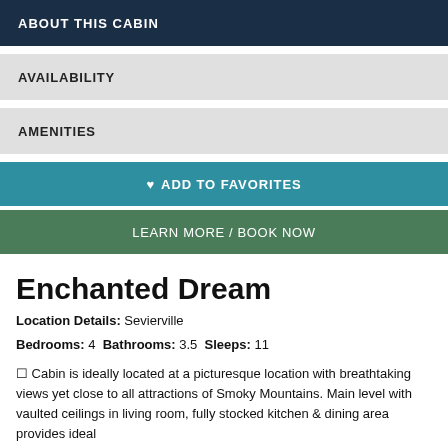ABOUT THIS CABIN
AVAILABILITY
AMENITIES
♥ ADD TO FAVORITES
LEARN MORE / BOOK NOW
Enchanted Dream
Location Details: Sevierville
Bedrooms: 4 Bathrooms: 3.5 Sleeps: 11
☐ Cabin is ideally located at a picturesque location with breathtaking views yet close to all attractions of Smoky Mountains. Main level with vaulted ceilings in living room, fully stocked kitchen & dining area provides ideal